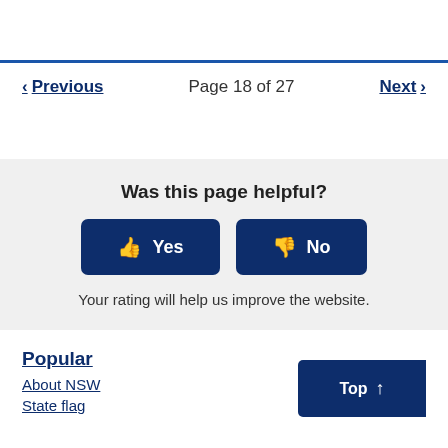< Previous   Page 18 of 27   Next >
Was this page helpful?
Yes
No
Your rating will help us improve the website.
Popular
About NSW
State flag